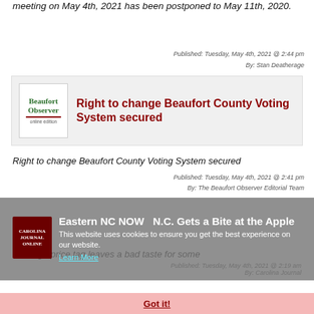meeting on May 4th, 2021 has been postponed to May 11th, 2020.
Published: Tuesday, May 4th, 2021 @ 2:44 pm
By: Stan Deatherage
[Figure (logo): Beaufort Observer online edition logo]
Right to change Beaufort County Voting System secured
Right to change Beaufort County Voting System secured
Published: Tuesday, May 4th, 2021 @ 2:41 pm
By: The Beaufort Observer Editorial Team
Eastern NC NOW N.C. Gets a Bite at the Apple This website uses cookies to ensure you get the best experience on our website. Learn More Got it!
The high price tag leaves a bad taste for some
Published: Tuesday, May 4th, 2021 @ 2:19 am
By: Carolina Journal